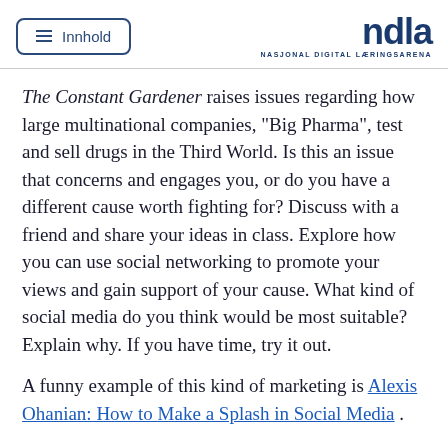Innhold | NDLA NASJONAL DIGITAL LÆRINGSARENA
The Constant Gardener raises issues regarding how large multinational companies, "Big Pharma", test and sell drugs in the Third World. Is this an issue that concerns and engages you, or do you have a different cause worth fighting for? Discuss with a friend and share your ideas in class. Explore how you can use social networking to promote your views and gain support of your cause. What kind of social media do you think would be most suitable? Explain why. If you have time, try it out.
A funny example of this kind of marketing is Alexis Ohanian: How to Make a Splash in Social Media .